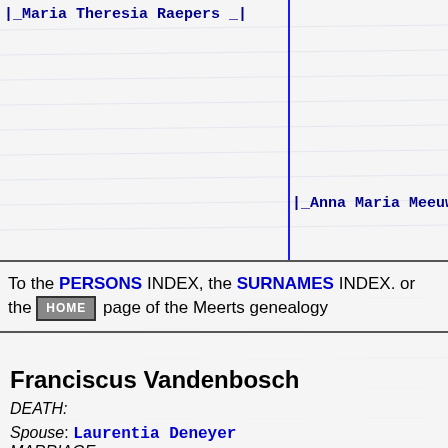|_Maria Theresia Raepers _|
|_Anna Maria Meeuws ___
To the PERSONS INDEX, the SURNAMES INDEX. or the HOME page of the Meerts genealogy
Franciscus Vandenbosch
DEATH:
Spouse: Laurentia Deneyer MARRIAGE: